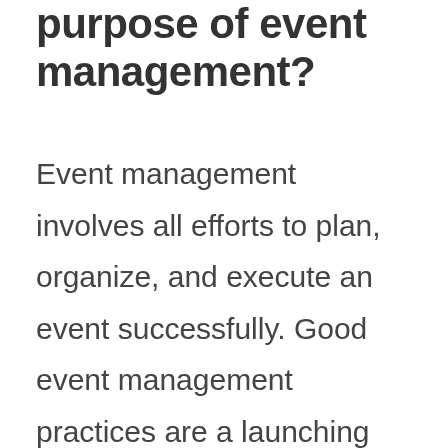purpose of event management?
Event management involves all efforts to plan, organize, and execute an event successfully. Good event management practices are a launching pad for successful events. Although the specifics of event plans for each event will